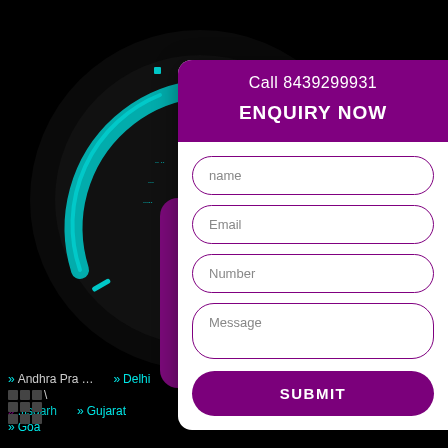[Figure (illustration): Dark background with cyan/teal circular dashboard gauge instrument cluster on the left side, with glowing teal arc and numeric markings (903 visible), small cyan accent marks and a circular icon at bottom center]
[Figure (illustration): Purple rounded rectangle box containing a white envelope/mail icon]
Call 8439299931
ENQUIRY NOW
name
Email
Number
Message
SUBMIT
» Andhra Pradesh
» Chhattisgarh
» Goa
» Delhi
» Gujarat